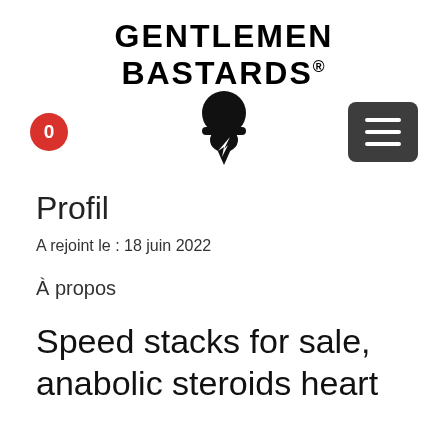[Figure (logo): Gentlemen Bastards logo with arched text 'GENTLEMEN BASTARDS' and a bearded man with helmet icon]
Profil
A rejoint le : 18 juin 2022
À propos
Speed stacks for sale, anabolic steroids heart